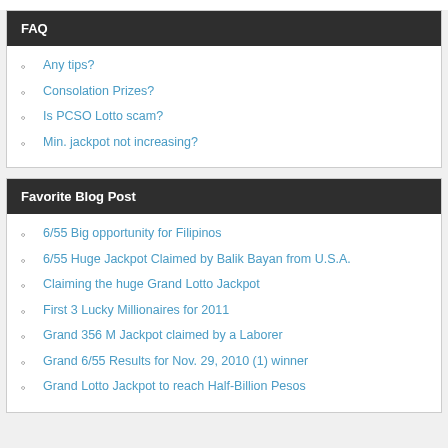FAQ
Any tips?
Consolation Prizes?
Is PCSO Lotto scam?
Min. jackpot not increasing?
Favorite Blog Post
6/55 Big opportunity for Filipinos
6/55 Huge Jackpot Claimed by Balik Bayan from U.S.A.
Claiming the huge Grand Lotto Jackpot
First 3 Lucky Millionaires for 2011
Grand 356 M Jackpot claimed by a Laborer
Grand 6/55 Results for Nov. 29, 2010 (1) winner
Grand Lotto Jackpot to reach Half-Billion Pesos